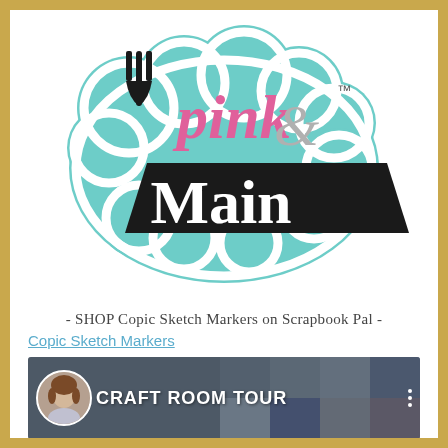[Figure (logo): Pink & Main brand logo — teal/mint cloud-shaped background with white outline, black text 'pink&' with pink ampersand-style lettering and 'Main' in white on black banner, TM symbol, fork/pen icon in black]
- SHOP Copic Sketch Markers on Scrapbook Pal -
Copic Sketch Markers
[Figure (screenshot): Video thumbnail showing 'CRAFT ROOM TOUR' text in white bold letters on a dark background. A circular avatar of a woman with brown hair is on the left. A collage of craft room photos fills the background on the right. Three vertical dots menu icon on the far right.]